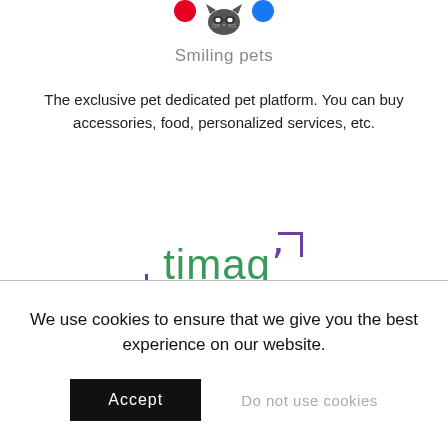[Figure (logo): Smiling pets logo with cat icon and social media icons (Pinterest red, Facebook blue)]
Smiling pets
The exclusive pet dedicated pet platform. You can buy accessories, food, personalized services, etc.
[Figure (logo): Timag logo with green text 'timag' and purple bracket corners]
Online store of IT products, licenses and IT equipment.
We use cookies to ensure that we give you the best experience on our website.
Accept
Do not use cookies